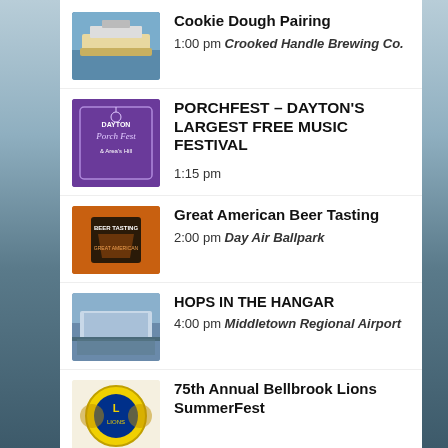Cookie Dough Pairing
1:00 pm Crooked Handle Brewing Co.
PORCHFEST – DAYTON'S LARGEST FREE MUSIC FESTIVAL
1:15 pm
Great American Beer Tasting
2:00 pm Day Air Ballpark
HOPS IN THE HANGAR
4:00 pm Middletown Regional Airport
75th Annual Bellbrook Lions SummerFest